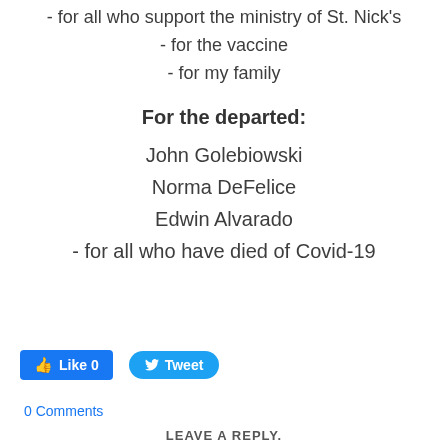- for all who support the ministry of St. Nick's
- for the vaccine
- for my family
For the departed:
John Golebiowski
Norma DeFelice
Edwin Alvarado
- for all who have died of Covid-19
Like 0   Tweet
0 Comments
LEAVE A REPLY.